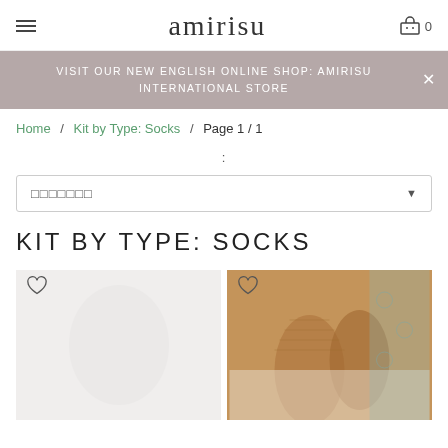amirisu
VISIT OUR NEW ENGLISH ONLINE SHOP: AMIRISU INTERNATIONAL STORE
Home / Kit by Type: Socks / Page 1 / 1
:
□□□□□□□
KIT BY TYPE: SOCKS
[Figure (photo): Product image placeholder - white/light sock kit]
[Figure (photo): Photo of brown/caramel knitted socks worn by a person, shown against a decorative tiled background]